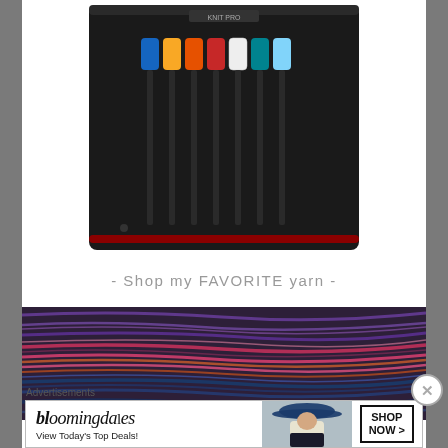[Figure (photo): Crochet hook set in black case with colorful grip handles (blue, yellow, orange, red, white, teal), photographed from above against white background]
- Shop my FAVORITE yarn -
[Figure (photo): Colorful multicolored yarn skeins showing variegated purple, red, orange, blue, and pink tones, stacked and arranged diagonally]
Advertisements
[Figure (screenshot): Bloomingdale's advertisement banner: 'bloomingdales - View Today's Top Deals!' with woman in blue hat, SHOP NOW > button]